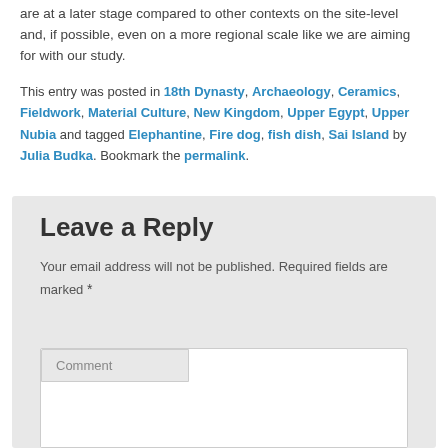are at a later stage compared to other contexts on the site-level and, if possible, even on a more regional scale like we are aiming for with our study.
This entry was posted in 18th Dynasty, Archaeology, Ceramics, Fieldwork, Material Culture, New Kingdom, Upper Egypt, Upper Nubia and tagged Elephantine, Fire dog, fish dish, Sai Island by Julia Budka. Bookmark the permalink.
Leave a Reply
Your email address will not be published. Required fields are marked *